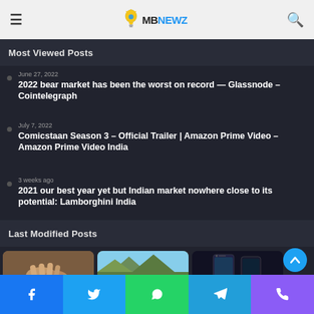MB NEWZ
Most Viewed Posts
June 27, 2022
2022 bear market has been the worst on record — Glassnode – Cointelegraph
July 7, 2022
Comicstaan Season 3 – Official Trailer | Amazon Prime Video – Amazon Prime Video India
3 weeks ago
2021 our best year yet but Indian market nowhere close to its potential: Lamborghini India
Last Modified Posts
[Figure (photo): Three thumbnail images in a row showing: hands holding something, a mountain landscape, and a smartphone]
Facebook | Twitter | WhatsApp | Telegram | Phone